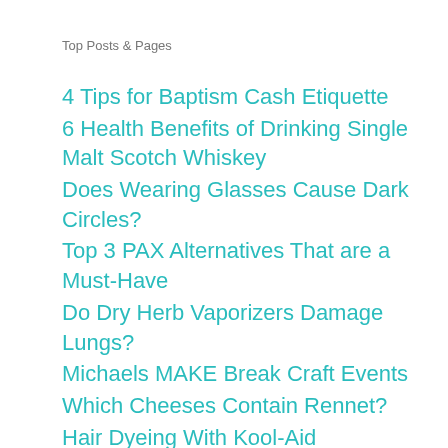Top Posts & Pages
4 Tips for Baptism Cash Etiquette
6 Health Benefits of Drinking Single Malt Scotch Whiskey
Does Wearing Glasses Cause Dark Circles?
Top 3 PAX Alternatives That are a Must-Have
Do Dry Herb Vaporizers Damage Lungs?
Michaels MAKE Break Craft Events
Which Cheeses Contain Rennet?
Hair Dyeing With Kool-Aid
How to Charge an RV Battery with a Generator in 9 Simple Steps
My Experience with Surya Brasil Henna Hair Color